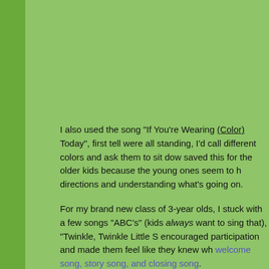[Figure (photo): Two photos side by side showing small decorative craft figures (appear to be small pink/orange figures) on a light background, with a red element visible in the right photo]
I also used the song "If You're Wearing (Color) Today", first tell [them to stand. While they] were all standing, I'd call different colors and ask them to sit dow[n. I] saved this for the older kids because the young ones seem to h[ave trouble following] directions and understanding what's going on.
For my brand new class of 3-year olds, I stuck with a few songs [they'd know:] "ABC's" (kids always want to sing that), "Twinkle, Twinkle Little S[tar", etc. This] encouraged participation and made them feel like they knew wh[at they were doing.] welcome song, story song, and closing song.
How It Went
Overall, the first round of storytimes for the new school year we[nt well, aside] with scheduling and and the youngest kids that don't know the r[outine and can't] keep engaged, which is why I just plan on shorter sessions at fi[rst. I was] pleasantly surprised that there were no tears this year, though s[ome were close!]